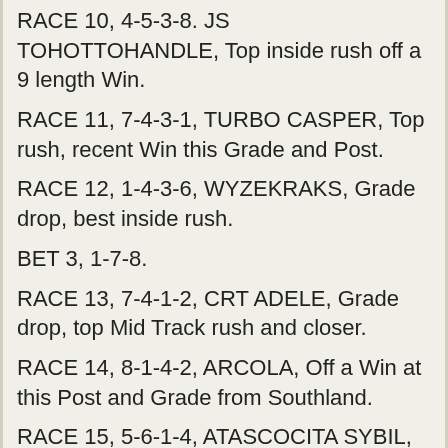RACE 10, 4-5-3-8. JS TOHOTTOHANDLE, Top inside rush off a 9 length Win.
RACE 11, 7-4-3-1, TURBO CASPER, Top rush, recent Win this Grade and Post.
RACE 12, 1-4-3-6, WYZEKRAKS, Grade drop, best inside rush.
BET 3, 1-7-8.
RACE 13, 7-4-1-2, CRT ADELE, Grade drop, top Mid Track rush and closer.
RACE 14, 8-1-4-2, ARCOLA, Off a Win at this Post and Grade from Southland.
RACE 15, 5-6-1-4, ATASCOCITA SYBIL, Top rush for 6 straight Wins.
TrackData Systems at 5:40 PM
Share